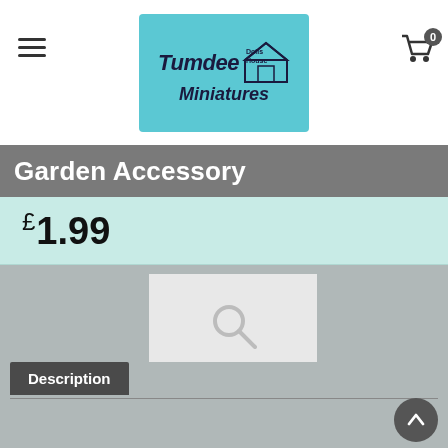[Figure (logo): Tumdee Dolls House Miniatures logo in blue/teal box with house icon]
Garden Accessory
£1.99
[Figure (photo): Product image placeholder with search/zoom icon]
Description
A Single Foxglove Flower
In a ceramic pot
As these flowers have been individually hand made from polymer clay and fixed to a wire they are completely flexible and can be put into any position you require without damaging them